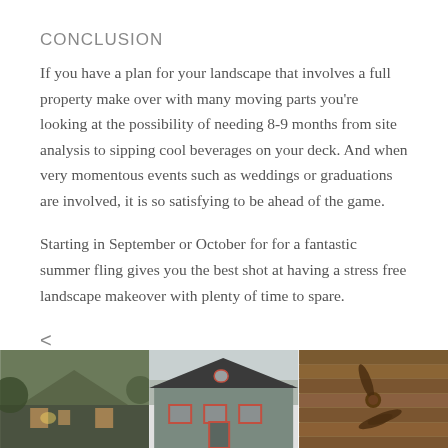CONCLUSION
If you have a plan for your landscape that involves a full property make over with many moving parts you're looking at the possibility of needing 8-9 months from site analysis to sipping cool beverages on your deck. And when very momentous events such as weddings or graduations are involved, it is so satisfying to be ahead of the game.
Starting in September or October for for a fantastic summer fling gives you the best shot at having a stress free landscape makeover with plenty of time to spare.
<
[Figure (photo): Three thumbnail photos of houses and interior, showing landscaping and architecture examples]
[Figure (photo): Photo of gray house exterior with red-trimmed windows]
[Figure (photo): Photo of wooden ceiling with ceiling fan]